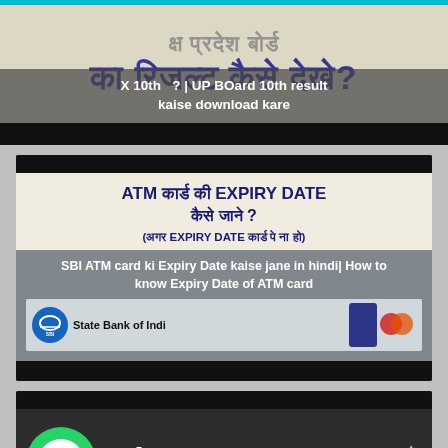[Figure (screenshot): Card 1: Hindi text image showing 'ka result kaise dekhe?' with overlay text 'X 10th ? | UP BOard 10th result kaise download kare']
[Figure (screenshot): Card 2: ATM card expiry date article image in Hindi with SBI and card logos, overlay text 'SBI ATM card ki Expiry Date kaise jane in hindi| How to know Expiry Date of ATM card']
[Figure (screenshot): Card 3: WhatsApp logo image with text, overlay title 'whatsapp me read receipt dikhana band kaise kare | How']